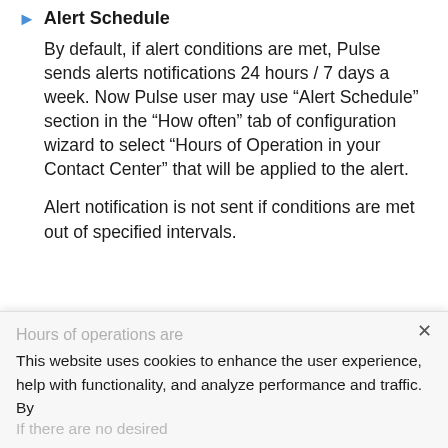Alert Schedule
By default, if alert conditions are met, Pulse sends alerts notifications 24 hours / 7 days a week. Now Pulse user may use “Alert Schedule” section in the “How often” tab of configuration wizard to select “Hours of Operation in your Contact Center” that will be applied to the alert.
Alert notification is not sent if conditions are met out of specified intervals.
Hours of operations are
This website uses cookies to enhance the user experience, help with functionality, and analyze performance and traffic. By
If there are no desired